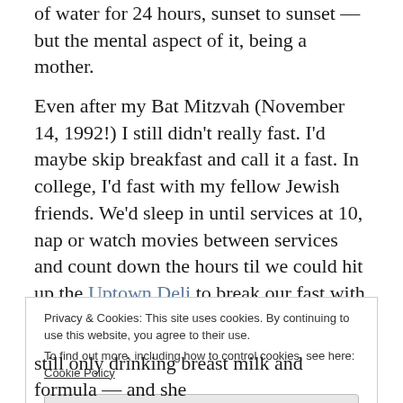of water for 24 hours, sunset to sunset — but the mental aspect of it, being a mother.
Even after my Bat Mitzvah (November 14, 1992!) I still didn't really fast. I'd maybe skip breakfast and call it a fast. In college, I'd fast with my fellow Jewish friends. We'd sleep in until services at 10, nap or watch movies between services and count down the hours til we could hit up the Uptown Deli to break our fast with traditional Jewish fare — matzo ball soup, pastrami sandwiches, knishes and blintzes.
Privacy & Cookies: This site uses cookies. By continuing to use this website, you agree to their use. To find out more, including how to control cookies, see here: Cookie Policy
Close and accept
still only drinking breast milk and formula — and she